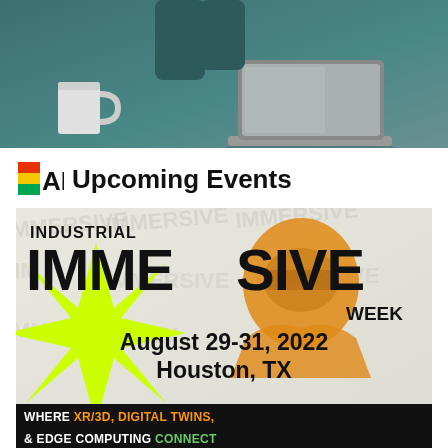[Figure (photo): Photo of a laptop and coffee mug on a desk with teal/gray background]
Upcoming Events
[Figure (photo): Industrial Immersive Week event banner. August 29-31, 2022, Houston, TX. Where XR/3D, Digital Twins, & Edge Computing Connect.]